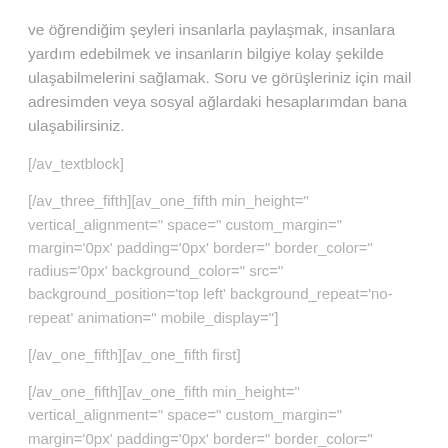ve öğrendiğim şeyleri insanlarla paylaşmak, insanlara yardım edebilmek ve insanların bilgiye kolay şekilde ulaşabilmelerini sağlamak. Soru ve görüşleriniz için mail adresimden veya sosyal ağlardaki hesaplarımdan bana ulaşabilirsiniz.
[/av_textblock]
[/av_three_fifth][av_one_fifth min_height=" vertical_alignment=" space=" custom_margin=" margin='0px' padding='0px' border=" border_color=" radius='0px' background_color=" src=" background_position='top left' background_repeat='no-repeat' animation=" mobile_display="]
[/av_one_fifth][av_one_fifth first]
[/av_one_fifth][av_one_fifth min_height=" vertical_alignment=" space=" custom_margin=" margin='0px' padding='0px' border=" border_color=" radius='0px' background_color=" src=" background_position='top left' background_repeat='no-repeat' animation=" mobile_display="]